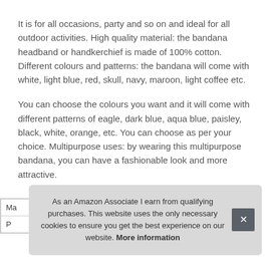It is for all occasions, party and so on and ideal for all outdoor activities. High quality material: the bandana headband or handkerchief is made of 100% cotton. Different colours and patterns: the bandana will come with white, light blue, red, skull, navy, maroon, light coffee etc.
You can choose the colours you want and it will come with different patterns of eagle, dark blue, aqua blue, paisley, black, white, orange, etc. You can choose as per your choice. Multipurpose uses: by wearing this multipurpose bandana, you can have a fashionable look and more attractive.
| Ma |
| P |
As an Amazon Associate I earn from qualifying purchases. This website uses the only necessary cookies to ensure you get the best experience on our website. More information